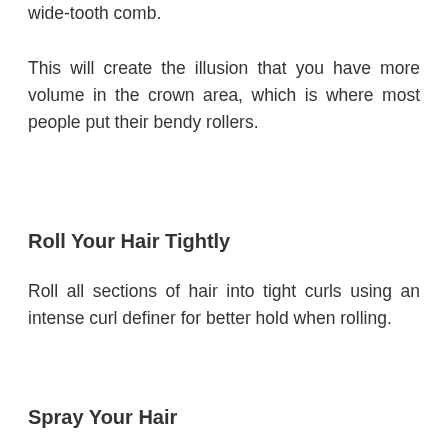wide-tooth comb.
This will create the illusion that you have more volume in the crown area, which is where most people put their bendy rollers.
Roll Your Hair Tightly
Roll all sections of hair into tight curls using an intense curl definer for better hold when rolling.
Spray Your Hair